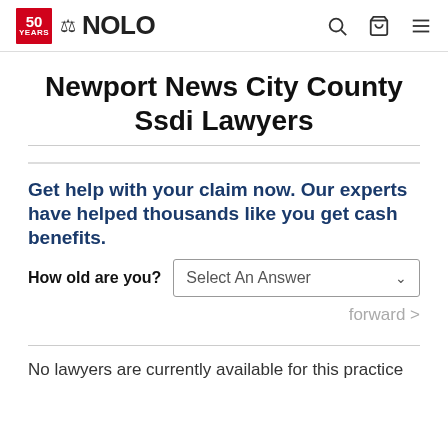NOLO - 50 Years
Newport News City County Ssdi Lawyers
Get help with your claim now. Our experts have helped thousands like you get cash benefits.
How old are you? Select An Answer
forward >
No lawyers are currently available for this practice